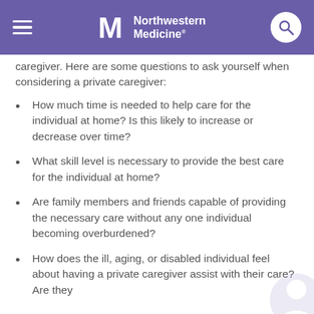Northwestern Medicine
caregiver. Here are some questions to ask yourself when considering a private caregiver:
How much time is needed to help care for the individual at home? Is this likely to increase or decrease over time?
What skill level is necessary to provide the best care for the individual at home?
Are family members and friends capable of providing the necessary care without any one individual becoming overburdened?
How does the ill, aging, or disabled individual feel about having a private caregiver assist with their care? Are they comfortable with the idea of a private caregiver?